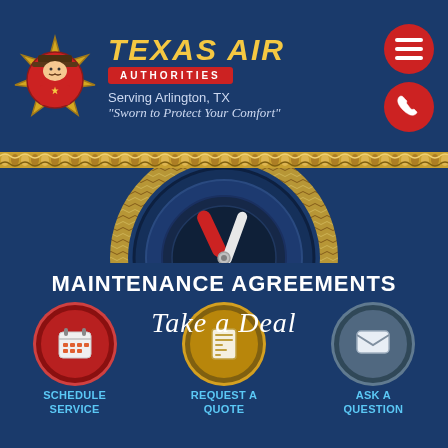[Figure (logo): Texas Air Authorities logo with cowboy mascot on a gold sheriff badge, company name in yellow italic bold text, and red AUTHORITIES ribbon]
Serving Arlington, TX
"Sworn to Protect Your Comfort"
[Figure (illustration): Circular gauge/pressure meter with red and white hands/tools, surrounded by a rope lasso circle, on dark blue background]
MAINTENANCE AGREEMENTS
[Figure (infographic): Three action buttons: Schedule Service (red circle with calendar icon), Request a Quote (gold circle with calculator icon), Ask a Question (gray-blue circle with envelope icon). Overlaid script text reads 'Take a Deal']
SCHEDULE SERVICE
REQUEST A QUOTE
ASK A QUESTION